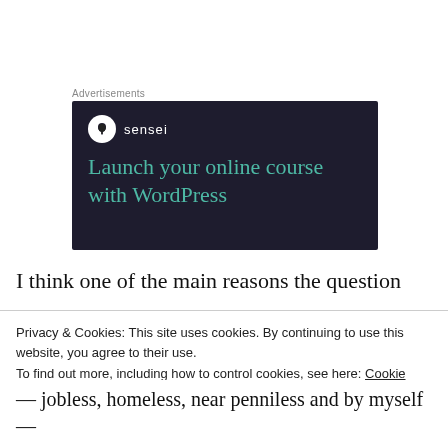Advertisements
[Figure (illustration): Sensei advertisement banner with dark background. Shows Sensei logo (tree icon in white circle) and text 'Launch your online course with WordPress' in teal color.]
I think one of the main reasons the question
Privacy & Cookies: This site uses cookies. By continuing to use this website, you agree to their use.
To find out more, including how to control cookies, see here: Cookie Policy
Close and accept
— jobless, homeless, near penniless and by myself —